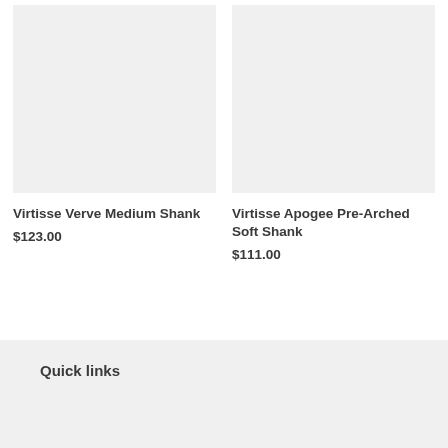[Figure (photo): Product image placeholder – light gray square for Virtisse Verve Medium Shank]
[Figure (photo): Product image placeholder – light gray square for Virtisse Apogee Pre-Arched Soft Shank]
Virtisse Verve Medium Shank
$123.00
Virtisse Apogee Pre-Arched Soft Shank
$111.00
Quick links